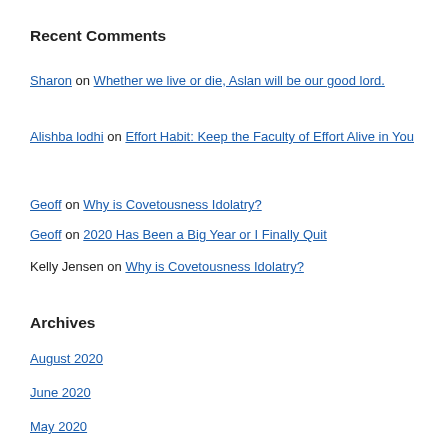Recent Comments
Sharon on Whether we live or die, Aslan will be our good lord.
Alishba lodhi on Effort Habit: Keep the Faculty of Effort Alive in You
Geoff on Why is Covetousness Idolatry?
Geoff on 2020 Has Been a Big Year or I Finally Quit
Kelly Jensen on Why is Covetousness Idolatry?
Archives
August 2020
June 2020
May 2020